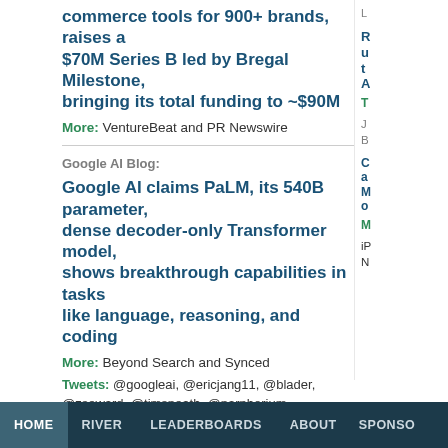commerce tools for 900+ brands, raises a $70M Series B led by Bregal Milestone, bringing its total funding to ~$90M
More: VentureBeat and PR Newswire
Google AI Blog:
Google AI claims PaLM, its 540B parameter, dense decoder-only Transformer model, shows breakthrough capabilities in tasks like language, reasoning, and coding
More: Beyond Search and Synced
Tweets: @googleai, @ericjang11, @blader, @zseward, @timsneath, @narphorium, @skiminok, @mattshumer_, @robinhanson, and @robinhanson
HOME   RIVER   LEADERBOARDS   ABOUT   SPONSO